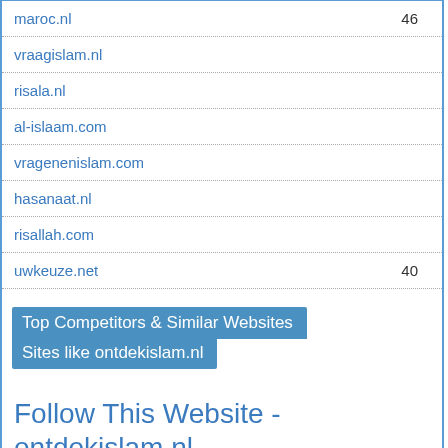| Domain | Score |
| --- | --- |
| maroc.nl | 46 |
| vraagislam.nl |  |
| risala.nl |  |
| al-islaam.com |  |
| vragenenislam.com |  |
| hasanaat.nl |  |
| risallah.com |  |
| uwkeuze.net | 40 |
Top Competitors & Similar Websites
Sites like ontdekislam.nl
Follow This Website - ontdekislam.nl